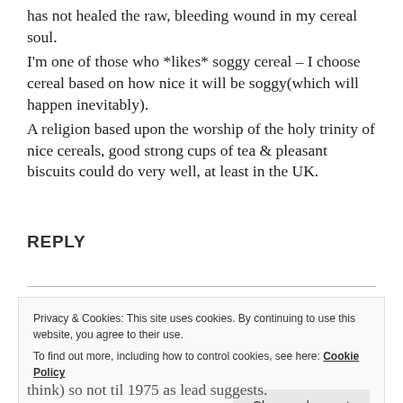has not healed the raw, bleeding wound in my cereal soul. I'm one of those who *likes* soggy cereal – I choose cereal based on how nice it will be soggy(which will happen inevitably). A religion based upon the worship of the holy trinity of nice cereals, good strong cups of tea & pleasant biscuits could do very well, at least in the UK.
REPLY
Privacy & Cookies: This site uses cookies. By continuing to use this website, you agree to their use. To find out more, including how to control cookies, see here: Cookie Policy
think) so not til 1975 as lead suggests.